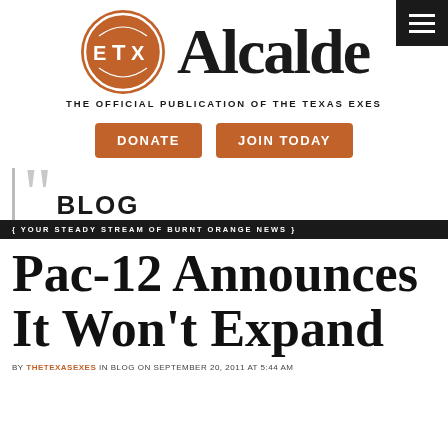[Figure (logo): Alcalde magazine logo: orange circle with ETX letters and the text 'Alcalde' in large serif font, with subtitle 'THE OFFICIAL PUBLICATION OF THE TEXAS EXES']
[Figure (other): Two orange buttons labeled DONATE and JOIN TODAY]
BLOG { YOUR STEADY STREAM OF BURNT ORANGE NEWS }
Pac-12 Announces It Won't Expand
BY THETEXASEXES IN BLOG ON SEPTEMBER 20, 2011 AT 5:44 AM